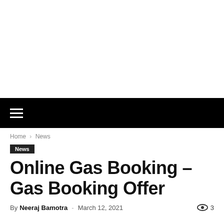[Figure (other): White blank area at top of page (advertisement/image placeholder)]
☰ (hamburger menu navigation bar)
Home › News
News
Online Gas Booking – Gas Booking Offer
By Neeraj Bamotra - March 12, 2021   👁 3